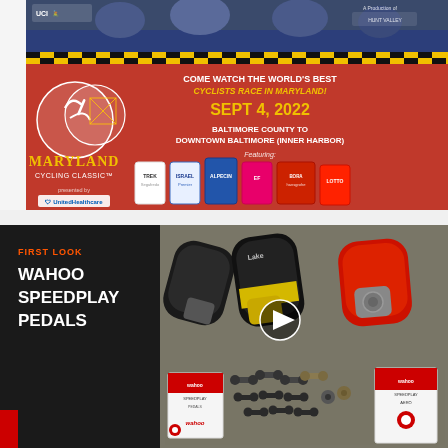[Figure (photo): Maryland Cycling Classic advertisement banner. Red background with black and yellow checkered border stripe. Shows cyclists racing at top, Maryland Cycling Classic logo on left, text reading 'COME WATCH THE WORLD'S BEST CYCLISTS RACE IN MARYLAND! SEPT 4, 2022 BALTIMORE COUNTY TO DOWNTOWN BALTIMORE (INNER HARBOR) Featuring:' with multiple cycling team jerseys shown. Sponsored by UCI, USA Cycling, UnitedHealthcare. A Production of Hunt Valley & Extraordinary Events.]
[Figure (photo): Wahoo Speedplay Pedals first look product photo. Dark background on left with orange text 'FIRST LOOK' and white bold text 'WAHOO SPEEDPLAY PEDALS'. Right side shows three pairs of cycling shoes (black, black/yellow Lake brand, red) with cleats visible, plus various Speedplay pedal components and hardware laid out on stone pavement. Wahoo product boxes visible at bottom. Video play button overlay visible.]